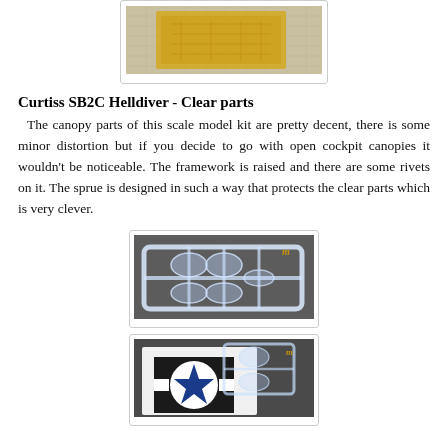[Figure (photo): Top portion of a photo showing a yellowish/gold etched sheet on a cutting mat background, partially cropped]
Curtiss SB2C Helldiver - Clear parts
The canopy parts of this scale model kit are pretty decent, there is some minor distortion but if you decide to go with open cockpit canopies it wouldn't be noticeable. The framework is raised and there are some rivets on it. The sprue is designed in such a way that protects the clear parts which is very clever.
[Figure (photo): Photo of a clear plastic sprue with canopy parts on a dark gray background, with a small branded logo in the top right corner]
[Figure (photo): Photo of a clear plastic canopy piece placed on top of a decal sheet showing a US military star insignia, partially cropped at bottom]